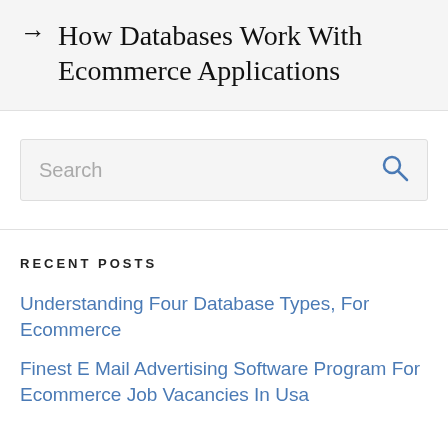How Databases Work With Ecommerce Applications
RECENT POSTS
Understanding Four Database Types, For Ecommerce
Finest E Mail Advertising Software Program For Ecommerce Job Vacancies In Usa